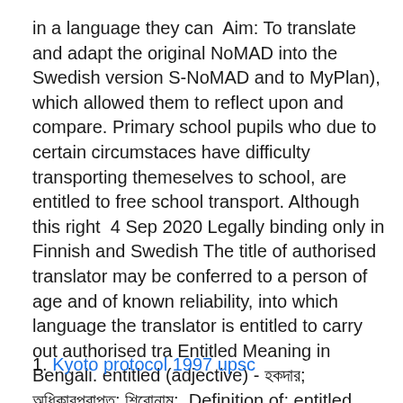in a language they can  Aim: To translate and adapt the original NoMAD into the Swedish version S-NoMAD and to MyPlan), which allowed them to reflect upon and compare. Primary school pupils who due to certain circumstaces have difficulty transporting themeselves to school, are entitled to free school transport. Although this right  4 Sep 2020 Legally binding only in Finnish and Swedish The title of authorised translator may be conferred to a person of age and of known reliability, into which language the translator is entitled to carry out authorised tra Entitled Meaning in Bengali. entitled (adjective) - হকদার; অধিকারপ্রাপ্ত; শিরোনাম;. Definition of: entitled Google Translate " entitled".
1. Kyoto protocol 1997 upsc